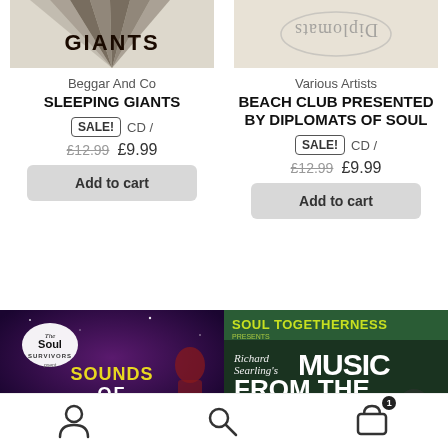[Figure (photo): Top partial album cover image for Beggar And Co - Sleeping Giants, light colored]
[Figure (photo): Top partial album cover image for Various Artists - Beach Club Presented By Diplomats Of Soul, light colored with upside-down text]
Beggar And Co
SLEEPING GIANTS
SALE! CD /
£12.99 £9.99
Add to cart
Various Artists
BEACH CLUB PRESENTED BY DIPLOMATS OF SOUL
SALE! CD /
£12.99 £9.99
Add to cart
[Figure (photo): Album cover: Soul Survivors present Sounds of Universal - dark purple/space background with yellow text]
[Figure (photo): Album cover: Soul Togetherness presents Richard Searling's Music From The Soul - dark green background with white text]
Navigation toolbar with user icon, search icon, and shopping cart icon with badge showing 1